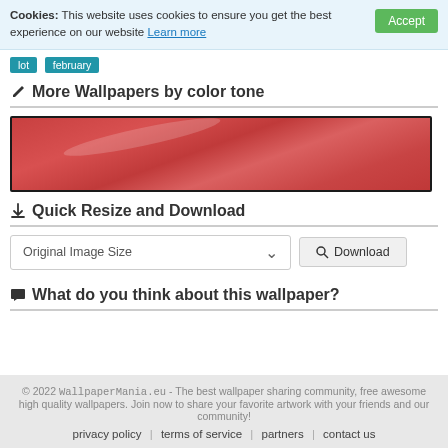Cookies: This website uses cookies to ensure you get the best experience on our website Learn more  Accept
lot  february
✏ More Wallpapers by color tone
[Figure (illustration): A horizontal red/rose color swatch with a glossy highlight, bordered in dark color.]
⬇ Quick Resize and Download
Original Image Size ∨  🔍 Download
💬 What do you think about this wallpaper?
© 2022 WallpaperMania.eu - The best wallpaper sharing community, free awesome high quality wallpapers. Join now to share your favorite artwork with your friends and our community! privacy policy | terms of service | partners | contact us